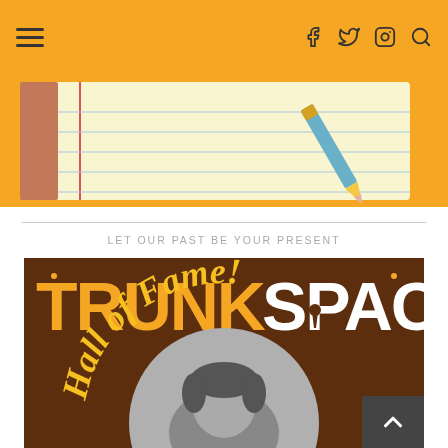Navigation bar with hamburger menu and social icons (f, twitter, instagram, search)
[Figure (illustration): Illustrated notepad with a pencil resting on it, yellow/cream lined paper with a red margin line, on a yellow-orange background]
LET OUR PAST BE YOUR PRESENT
[Figure (illustration): TrunkSpace Hall of Fame graphic: brown background with yellow 'TRUNK' and white 'SPACE' text at top, 'Hall of Fame!' in yellow script lettering arched over a circular grey photo frame showing a man's face]